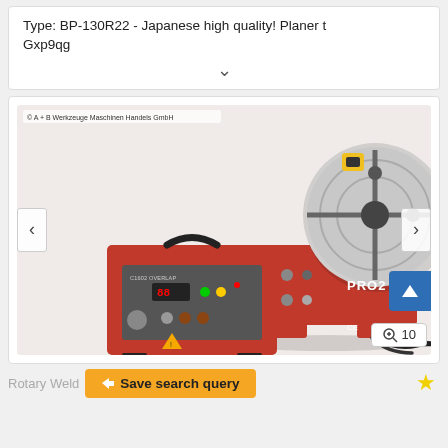Type: BP-130R22 - Japanese high quality! Planer t Gxp9qg
[Figure (photo): Red welding positioner machine (PRO2) with a circular disc table and a separate red control unit labeled C1602 OVERLAP with digital display and control panel. Watermark: A + B Werkzeuge Maschinen Handels GmbH. Navigation arrows on left and right. Zoom badge showing 10 in bottom right.]
Rotary Weld
Save search query